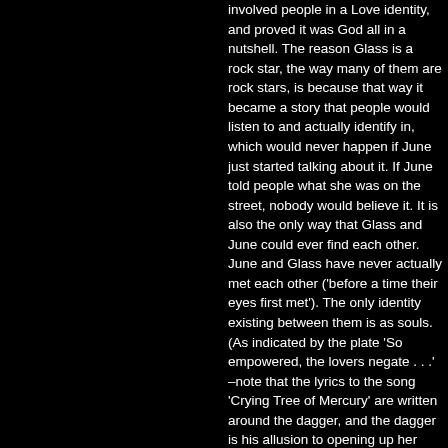involved people in a Love identity, and proved it was God all in a nutshell. The reason Glass is a rock star, the way many of them are rock stars, is because that way it became a story that people would listen to and actually identify in, which would never happen if June just started talking about it. If June told people what she was on the street, nobody would believe it. It is also the only way that Glass and June could ever find each other. June and Glass have never actually met each other ('before a time their eyes first met'). The only identity existing between them is as souls. (As indicated by the plate 'So empowered, the lovers negate . . .' –note that the lyrics to the song 'Crying Tree of Mercury' are written around the dagger, and the dagger is his allusion to opening up her heart.) The reason there is a vital link between them is because Glass answered June, unspoken words were understood. The (main) reason his name is Glass is because June can see through him, he is an inspired